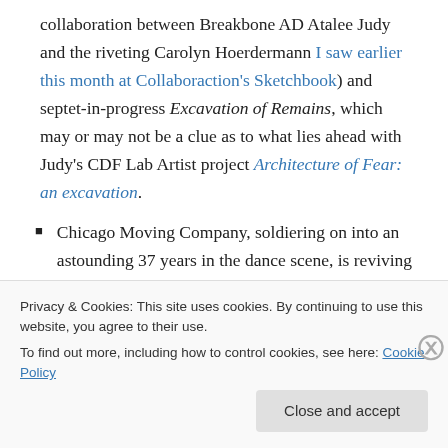collaboration between Breakbone AD Atalee Judy and the riveting Carolyn Hoerdermann I saw earlier this month at Collaboraction's Sketchbook) and septet-in-progress Excavation of Remains, which may or may not be a clue as to what lies ahead with Judy's CDF Lab Artist project Architecture of Fear: an excavation.
Chicago Moving Company, soldiering on into an astounding 37 years in the dance scene, is reviving the duet Hati-Hati with Jeremy Blair and Rachel Bunting (a Reader Critic's Choice upon its premiere).
Privacy & Cookies: This site uses cookies. By continuing to use this website, you agree to their use. To find out more, including how to control cookies, see here: Cookie Policy